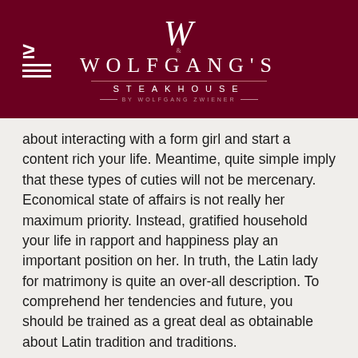[Figure (logo): Wolfgang's Steakhouse logo with large W monogram and hamburger menu icon on dark red background]
about interacting with a form girl and start a content rich your life. Meantime, quite simple imply that these types of cuties will not be mercenary. Economical state of affairs is not really her maximum priority. Instead, gratified household your life in rapport and happiness play an important position on her. In truth, the Latin lady for matrimony is quite an over-all description. To comprehend her tendencies and future, you should be trained as a great deal as obtainable about Latin tradition and traditions.
For your feminine being beautiful latina wife an excellent wife, there is a lot extra in perform than simply good looks. However , the foundation of any kind of relationship may not be constructed on points as shallow as an excellent determine, a wonderful face, or maybe a songbird-like